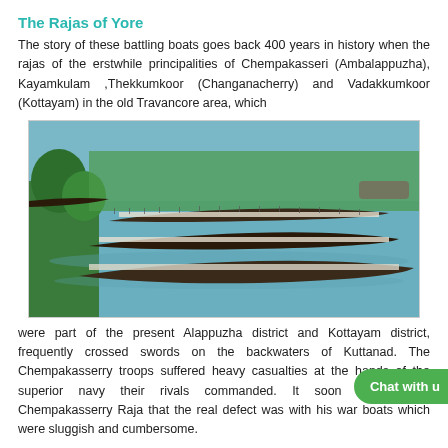The Rajas of Yore
The story of these battling boats goes back 400 years in history when the rajas of the erstwhile principalities of Chempakasseri (Ambalappuzha), Kayamkulam ,Thekkumkoor (Changanacherry) and Vadakkumkoor (Kottayam) in the old Travancore area, which
[Figure (photo): Aerial view of traditional snake boat races on the backwaters, with multiple long canoes filled with rowers in a river surrounded by palm trees and spectators.]
were part of the present Alappuzha district and Kottayam district, frequently crossed swords on the backwaters of Kuttanad. The Chempakasserry troops suffered heavy casualties at the hands of the superior navy their rivals commanded. It soon dawned on Chempakasserry Raja that the real defect was with his war boats which were sluggish and cumbersome.